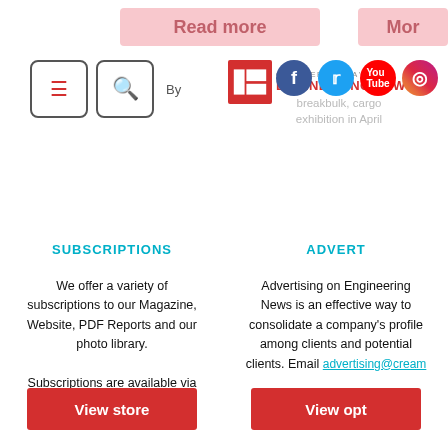[Figure (screenshot): Creamer Media Engineering News website header with logo, navigation icons, social media icons, and partial article headline about breakbulk cargo exhibition in April]
SUBSCRIPTIONS
We offer a variety of subscriptions to our Magazine, Website, PDF Reports and our photo library.

Subscriptions are available via the Creamer Media Store.
View store
ADVERTISE
Advertising on Engineering News is an effective way to consolidate a company's profile among clients and potential clients. Email advertising@creamermedia.co.za
View options